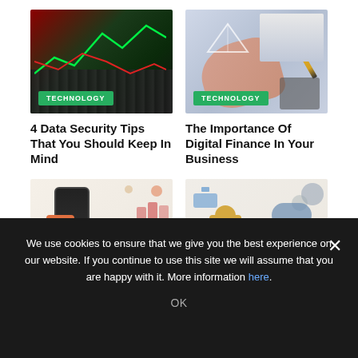[Figure (photo): Dark keyboard with green and red stock chart lines overlay]
TECHNOLOGY
4 Data Security Tips That You Should Keep In Mind
[Figure (photo): Hands writing with pencil near calculator with stock chart lines overlay]
TECHNOLOGY
The Importance Of Digital Finance In Your Business
[Figure (illustration): Social media marketing illustration with phone and people figures]
[Figure (illustration): Cloud computing illustration with person holding phone and cloud icons]
We use cookies to ensure that we give you the best experience on our website. If you continue to use this site we will assume that you are happy with it. More information here.
OK